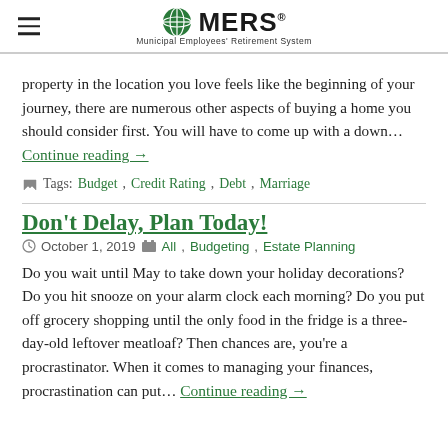MERS Municipal Employees' Retirement System
property in the location you love feels like the beginning of your journey, there are numerous other aspects of buying a home you should consider first. You will have to come up with a down… Continue reading →
Tags: Budget, Credit Rating, Debt, Marriage
Don't Delay, Plan Today!
October 1, 2019   All, Budgeting, Estate Planning
Do you wait until May to take down your holiday decorations? Do you hit snooze on your alarm clock each morning? Do you put off grocery shopping until the only food in the fridge is a three-day-old leftover meatloaf? Then chances are, you're a procrastinator. When it comes to managing your finances, procrastination can put… Continue reading →